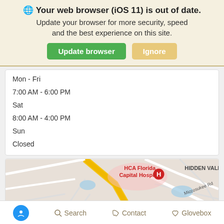Your web browser (iOS 11) is out of date.
Update your browser for more security, speed and the best experience on this site.
Update browser | Ignore
Mon - Fri
7:00 AM - 6:00 PM
Sat
8:00 AM - 4:00 PM
Sun
Closed
[Figure (map): Google Maps view showing HCA Florida Capital Hospital, Chow Time Grill & Buffet, Miccosukee Rd, and HIDDEN VALLE' area]
Search | Contact | Glovebox